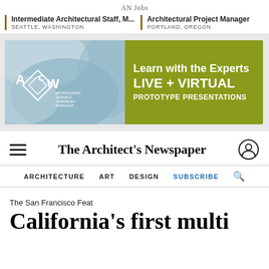AN Jobs
Intermediate Architectural Staff, M... | SEATTLE, WASHINGTON
Architectural Project Manager | PORTLAND, OREGON
[Figure (infographic): ACAW Architectural Ceramics Assemblies Workshop advertisement banner. Left half shows blue/white abstract ceramic forms with ACAW logo. Right half is olive/yellow-green with text: Learn with the Experts, LIVE + VIRTUAL, PROTOTYPE PRESENTATIONS.]
The Architect's Newspaper
ARCHITECTURE   ART   DESIGN   SUBSCRIBE
The San Francisco Feat
California's first multi